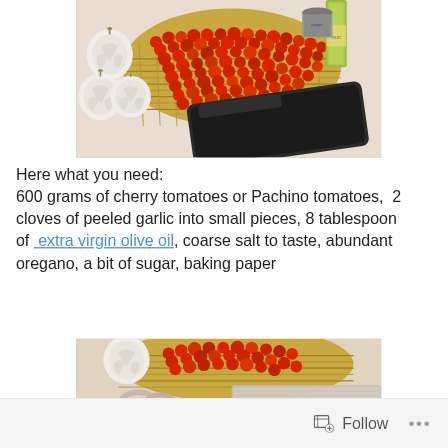[Figure (photo): Overhead photo of cherry tomatoes in a wicker basket, garlic bulbs, a small cup of pepper, a bottle of olive oil, and a dark rectangular baking tray on a white surface.]
Here what you need:
600 grams of cherry tomatoes or Pachino tomatoes,  2 cloves of peeled garlic into small pieces, 8 tablespoon of  extra virgin olive oil, coarse salt to taste, abundant oregano, a bit of sugar, baking paper
[Figure (photo): Close-up photo of cherry tomatoes in a wicker basket with garlic and a cloth or cutting board in background.]
Follow  ...